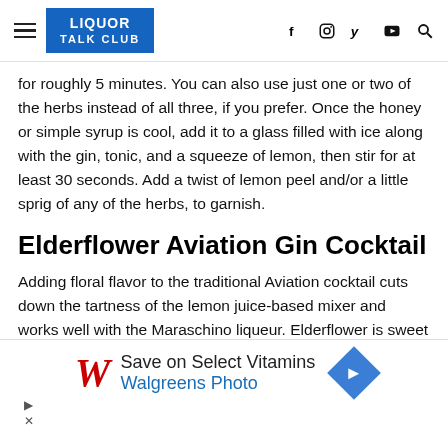LIQUOR TALK CLUB
for roughly 5 minutes. You can also use just one or two of the herbs instead of all three, if you prefer. Once the honey or simple syrup is cool, add it to a glass filled with ice along with the gin, tonic, and a squeeze of lemon, then stir for at least 30 seconds. Add a twist of lemon peel and/or a little sprig of any of the herbs, to garnish.
Elderflower Aviation Gin Cocktail
Adding floral flavor to the traditional Aviation cocktail cuts down the tartness of the lemon juice-based mixer and works well with the Maraschino liqueur. Elderflower is sweet and friendly and works brilliantly with beautifully herbal botanical
[Figure (other): Walgreens advertisement: Save on Select Vitamins - Walgreens Photo, with Walgreens logo and directional arrow icon]